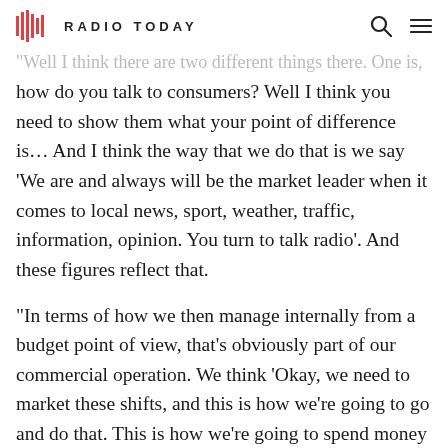RADIO TODAY
“Well I think there are two different things there. One is, how do you talk to consumers? Well I think you need to show them what your point of difference is… And I think the way that we do that is we say ‘We are and always will be the market leader when it comes to local news, sport, weather, traffic, information, opinion. You turn to talk radio’. And these figures reflect that.
“In terms of how we then manage internally from a budget point of view, that’s obviously part of our commercial operation. We think ‘Okay, we need to market these shifts, and this is how we’re going to go and do that. This is how we’re going to spend money doing that.’ And that forms part of any business case when it comes to a profit and loss scenario.”